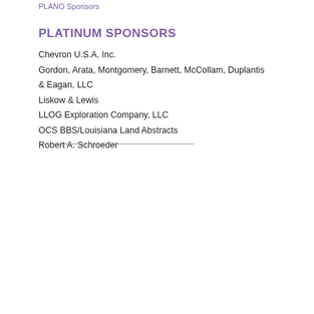PLANO Sponsors
PLATINUM SPONSORS
Chevron U.S.A. Inc.
Gordon, Arata, Montgomery, Barnett, McCollam, Duplantis & Eagan, LLC
Liskow & Lewis
LLOG Exploration Company, LLC
OCS BBS/Louisiana Land Abstracts
Robert A. Schroeder